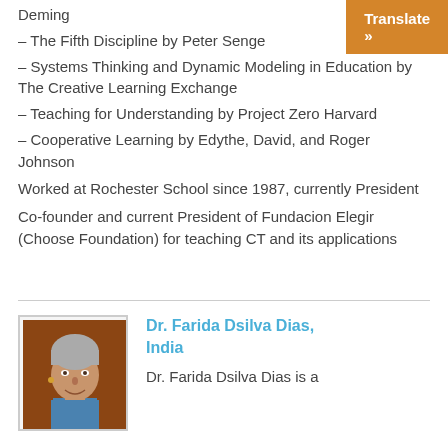Deming
– The Fifth Discipline by Peter Senge
– Systems Thinking and Dynamic Modeling in Education by The Creative Learning Exchange
– Teaching for Understanding by Project Zero Harvard
– Cooperative Learning by Edythe, David, and Roger Johnson
Worked at Rochester School since 1987, currently President
Co-founder and current President of Fundacion Elegir (Choose Foundation) for teaching CT and its applications
[Figure (photo): Portrait photo of Dr. Farida Dsilva Dias, a woman with short grey hair, smiling, wearing a blue top, against a brown background.]
Dr. Farida Dsilva Dias, India
Dr. Farida Dsilva Dias is a